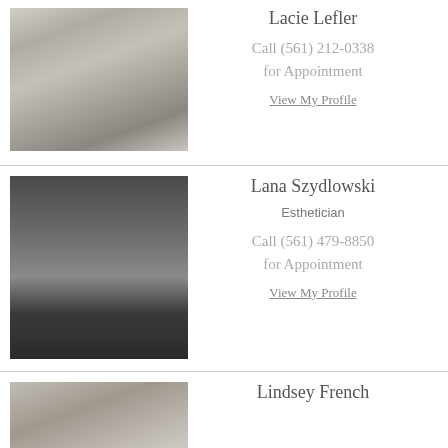[Figure (photo): Black and white portrait photo of Lacie Lefler, a blonde woman]
Lacie Lefler
Call (561) 212-0338 for Appointment
View My Profile
[Figure (photo): Black and white portrait photo of Lana Szydlowski, dark-haired woman]
Lana Szydlowski
Esthetician
Call (561) 479-8850 for Appointment
View My Profile
[Figure (photo): Black and white partial portrait photo of Lindsey French]
Lindsey French